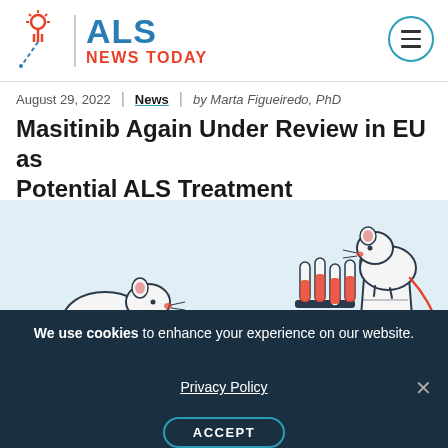ALS NEWS TODAY
August 29, 2022 | News | by Marta Figueiredo, PhD
Masitinib Again Under Review in EU as Potential ALS Treatment
[Figure (illustration): Line-art illustration of three lab mice/rats with laboratory equipment including test tubes, a small vial, and a graduated beaker, on a light blue background]
We use cookies to enhance your experience on our website.
Privacy Policy
ACCEPT